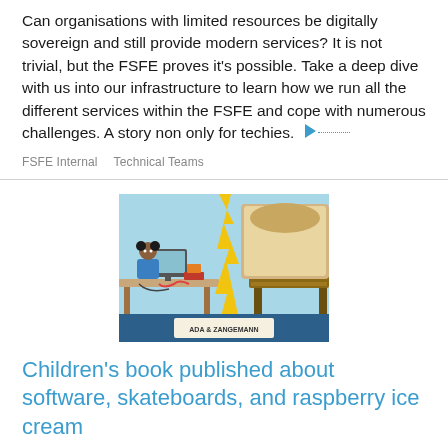Can organisations with limited resources be digitally sovereign and still provide modern services? It is not trivial, but the FSFE proves it's possible. Take a deep dive with us into our infrastructure to learn how we run all the different services within the FSFE and cope with numerous challenges. A story non only for techies.
FSFE Internal   Technical Teams
[Figure (illustration): Book cover illustration showing a girl at a computer desk on the left and a red-robed figure at a large wooden desk on the right, split by a jagged lightning bolt shape. Text at bottom reads 'ADA & ZANGEMANN'.]
Children's book published about software, skateboards, and raspberry ice cream
29 November 2021